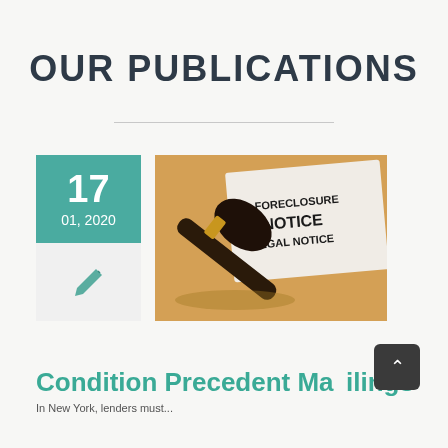OUR PUBLICATIONS
[Figure (illustration): Horizontal divider line separating the title from the content below]
[Figure (photo): A judge's gavel resting on an envelope, with a document reading 'FORECLOSURE NOTICE LEGAL NOTICE' visible in the background]
Condition Precedent Mailings
In New York, lenders must...